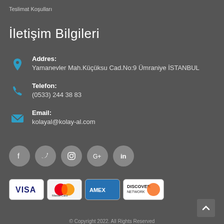Teslimat Koşulları
İletişim Bilgileri
Addres: Yamanevler Mah.Küçüksu Cad.No:9 Ümraniye İSTANBUL
Telefon: (0533) 244 38 83
Email: kolayal@kolay-al.com
[Figure (infographic): Social media icon buttons: Facebook, Twitter, Instagram, Google+, LinkedIn — grey circles]
[Figure (infographic): Payment card logos: VISA, MasterCard, AMEX, Discover]
© Copyright 2022. All Rights Reserved